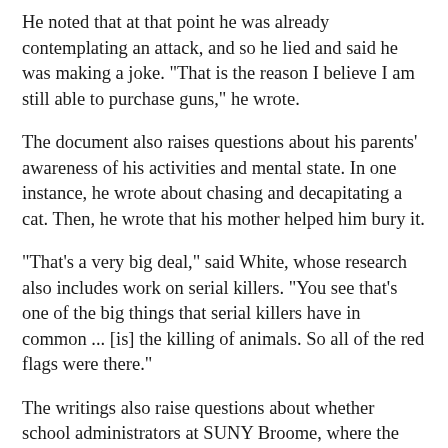He noted that at that point he was already contemplating an attack, and so he lied and said he was making a joke. "That is the reason I believe I am still able to purchase guns," he wrote.
The document also raises questions about his parents' awareness of his activities and mental state. In one instance, he wrote about chasing and decapitating a cat. Then, he wrote that his mother helped him bury it.
"That's a very big deal," said White, whose research also includes work on serial killers. "You see that's one of the big things that serial killers have in common ... [is] the killing of animals. So all of the red flags were there."
The writings also raise questions about whether school administrators at SUNY Broome, where the suspect was enrolled in an Engineering Science program, missed warning signs. The author's log shows that over time he devoted ever greater amounts of time to preparing for the mass shooting. Eventually, he writes that he dropped out of